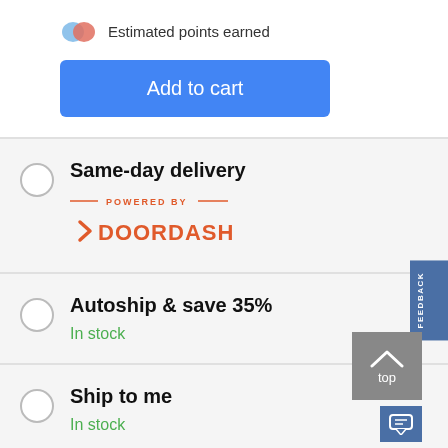Estimated points earned
Add to cart
Same-day delivery — POWERED BY — DOORDASH
Autoship & save 35% — In stock
Ship to me — In stock